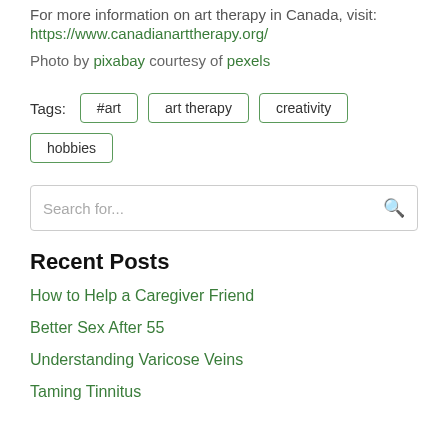For more information on art therapy in Canada, visit:
https://www.canadianarttherapy.org/
Photo by pixabay courtesy of pexels
Tags: #art  art therapy  creativity  hobbies
Search for...
Recent Posts
How to Help a Caregiver Friend
Better Sex After 55
Understanding Varicose Veins
Taming Tinnitus